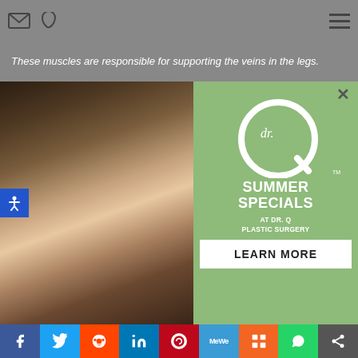These muscles are responsible for supporting the veins in the legs.
[Figure (photo): Advertisement popup: Left half shows a woman in a swimsuit/bikini. Right half is a green advertisement for 'dr. Q Summer Specials at Dr. Q Plastic Surgery' with a Learn More button. A close (×) button is at top right.]
Facebook Twitter Reddit LinkedIn Pinterest MeWe Mix WhatsApp Share